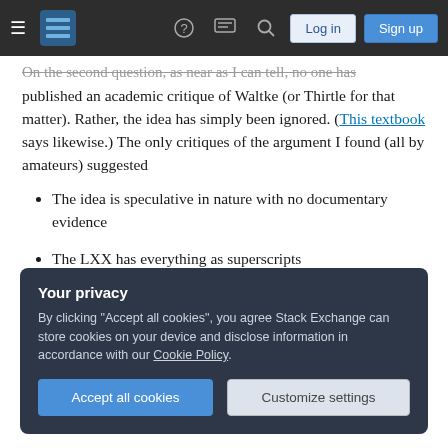Stack Exchange navigation bar with hamburger menu, logo, help, chat, search icons, Log in and Sign up buttons
On the second question, as near as I can tell, no one has published an academic critique of Waltke (or Thirtle for that matter). Rather, the idea has simply been ignored. (This textbook says likewise.) The only critiques of the argument I found (all by amateurs) suggested
The idea is speculative in nature with no documentary evidence
The LXX has everything as superscripts
were the only weaknesses of the argument.
Your privacy
By clicking "Accept all cookies", you agree Stack Exchange can store cookies on your device and disclose information in accordance with our Cookie Policy.